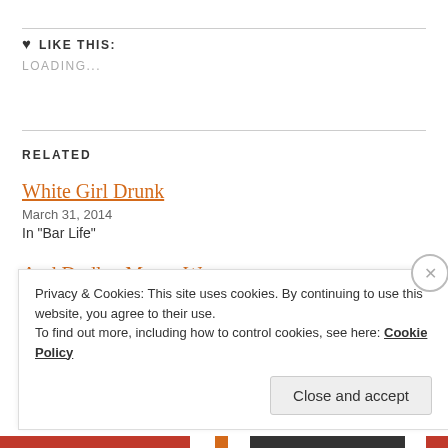♥ LIKE THIS:
LOADING...
RELATED
White Girl Drunk
March 31, 2014
In "Bar Life"
And Dudley Moore Wept...
January 2, 2012
Privacy & Cookies: This site uses cookies. By continuing to use this website, you agree to their use.
To find out more, including how to control cookies, see here: Cookie Policy
Close and accept